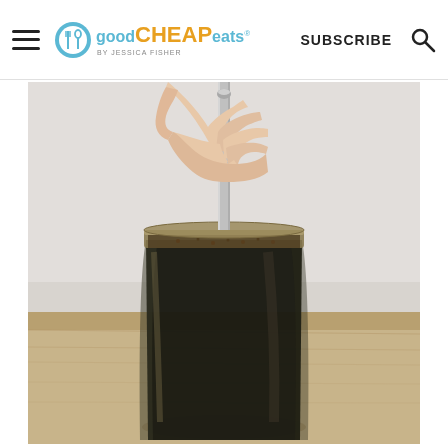good CHEAP eats by Jessica Fisher | SUBSCRIBE
[Figure (photo): A hand pressing down on a metal plunger inserted into a mason jar filled with dark cold brew coffee, sitting on a light wood surface against a white/grey background.]